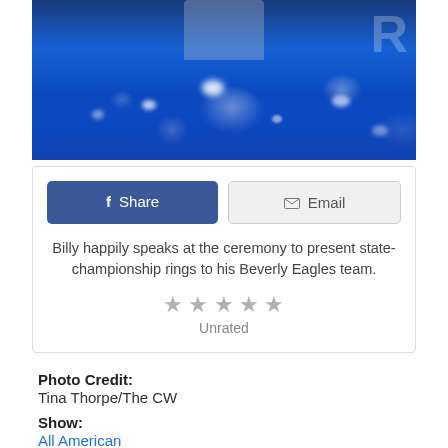[Figure (photo): Photo of Billy at a ceremony with blue decorative ribbons/streamers in the foreground, presenting state-championship rings to his Beverly Eagles team.]
Billy happily speaks at the ceremony to present state-championship rings to his Beverly Eagles team.
Unrated
Photo Credit:
Tina Thorpe/The CW
Show:
All American
Episode:
All American Season 2 Episode 8: "Life Goes On"
Related Photos:
All American Photos, All American Season 2 Episode 8 Photos